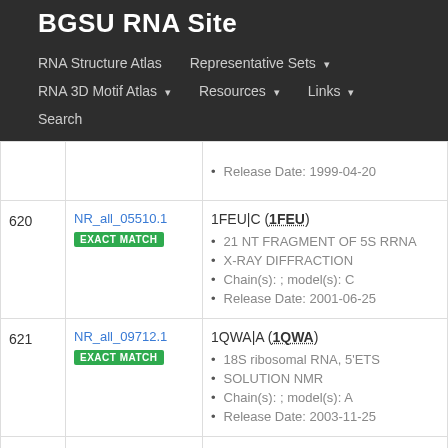BGSU RNA Site
RNA Structure Atlas | Representative Sets ▾ | RNA 3D Motif Atlas ▾ | Resources ▾ | Links ▾ | Search
| # | ID | Details |
| --- | --- | --- |
| 620 | NR_all_05510.1
EXACT MATCH | 1FEU|C (1FEU)
• 21 NT FRAGMENT OF 5S RRNA
• X-RAY DIFFRACTION
• Chain(s): ; model(s): C
• Release Date: 2001-06-25 |
| 621 | NR_all_09712.1
EXACT MATCH | 1QWA|A (1QWA)
• 18S ribosomal RNA, 5'ETS
• SOLUTION NMR
• Chain(s): ; model(s): A
• Release Date: 2003-11-25 |
| 622 | NR_all_12840.1 | 1D0T|A (1D0T) |